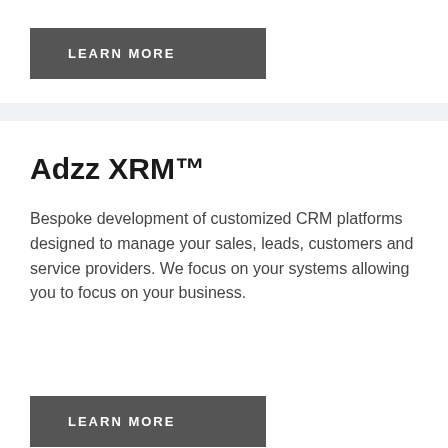LEARN MORE
Adzz XRM™
Bespoke development of customized CRM platforms designed to manage your sales, leads, customers and service providers. We focus on your systems allowing you to focus on your business.
LEARN MORE